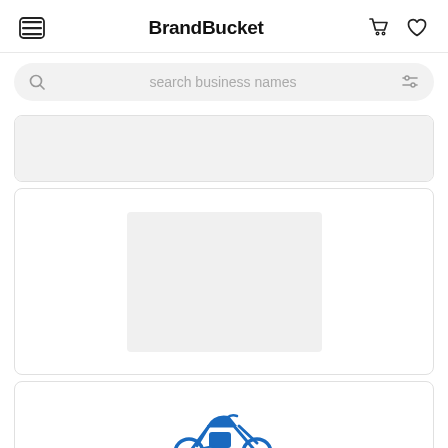BrandBucket
search business names
[Figure (screenshot): Gray loading/blank card placeholder bar]
[Figure (screenshot): Card with centered gray image placeholder rectangle]
[Figure (logo): BrandBucket listing card showing a blue dirt bike motorcycle logo above the text MOTOBON]